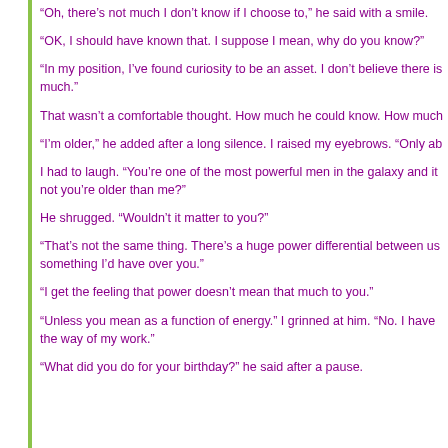“Oh, there’s not much I don’t know if I choose to,” he said with a smile.
“OK, I should have known that. I suppose I mean, why do you know?”
“In my position, I’ve found curiosity to be an asset. I don’t believe there is much.”
That wasn’t a comfortable thought. How much he could know. How much
“I’m older,” he added after a long silence. I raised my eyebrows. “Only ab
I had to laugh. “You’re one of the most powerful men in the galaxy and it not you’re older than me?”
He shrugged. “Wouldn’t it matter to you?”
“That’s not the same thing. There’s a huge power differential between us something I’d have over you.”
“I get the feeling that power doesn’t mean that much to you.”
“Unless you mean as a function of energy.” I grinned at him. “No. I have the way of my work.”
“What did you do for your birthday?” he said after a pause.